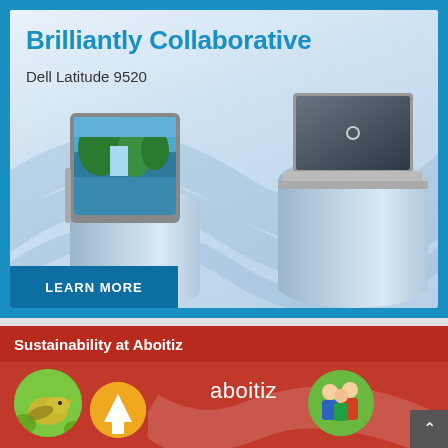[Figure (photo): Dell Latitude 9520 advertisement banner showing two laptops on light blue cylindrical pedestals against a blue background. Text reads 'Brilliantly Collaborative' and 'Dell Latitude 9520' with a 'LEARN MORE' button.]
Sustainability at Aboitiz
[Figure (photo): Aboitiz sustainability section with red background, showing circular images of a bird, an orange circle with an arrow/logo, and a group of people, along with the Aboitiz logo text in white.]